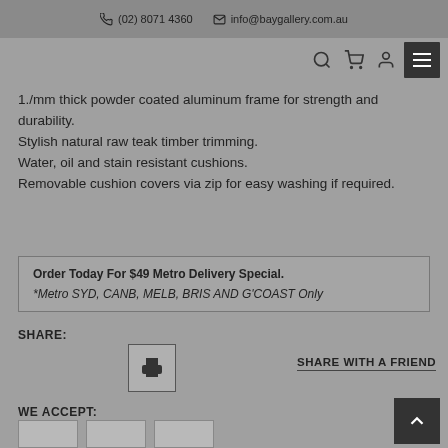(02) 8071 4360  info@baygallery.com.au
1./mm thick powder coated aluminum frame for strength and durability.
Stylish natural raw teak timber trimming.
Water, oil and stain resistant cushions.
Removable cushion covers via zip for easy washing if required.
Order Today For $49 Metro Delivery Special.
*Metro SYD, CANB, MELB, BRIS AND G'COAST Only
SHARE:
SHARE WITH A FRIEND
WE ACCEPT: